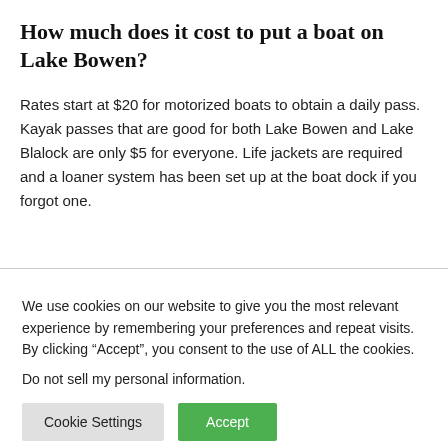How much does it cost to put a boat on Lake Bowen?
Rates start at $20 for motorized boats to obtain a daily pass. Kayak passes that are good for both Lake Bowen and Lake Blalock are only $5 for everyone. Life jackets are required and a loaner system has been set up at the boat dock if you forgot one.
We use cookies on our website to give you the most relevant experience by remembering your preferences and repeat visits. By clicking “Accept”, you consent to the use of ALL the cookies.
Do not sell my personal information.